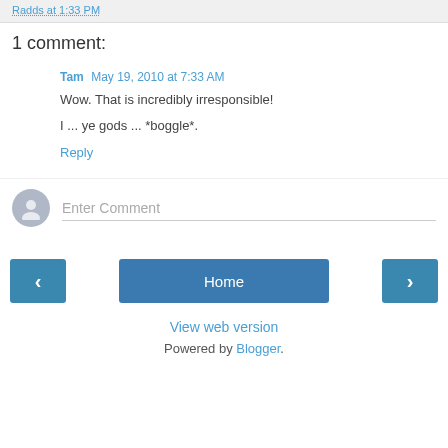Radds at 1:33 PM
1 comment:
Tam  May 19, 2010 at 7:33 AM
Wow. That is incredibly irresponsible!

I ... ye gods ... *boggle*.
Reply
Enter Comment
< Home > View web version Powered by Blogger.